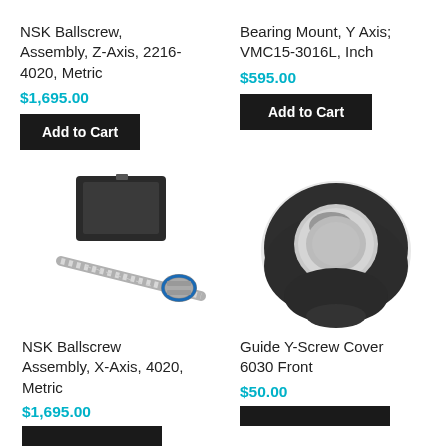NSK Ballscrew, Assembly, Z-Axis, 2216-4020, Metric
$1,695.00
Add to Cart
Bearing Mount, Y Axis; VMC15-3016L, Inch
$595.00
Add to Cart
[Figure (photo): NSK Ballscrew assembly with metal housing block and threaded screw rod]
[Figure (photo): Rubber guide Y-screw cover ring shaped dark component]
NSK Ballscrew Assembly, X-Axis, 4020, Metric
$1,695.00
Guide Y-Screw Cover 6030 Front
$50.00